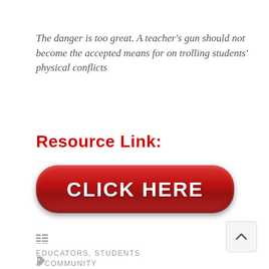The danger is too great. A teacher's gun should not become the accepted means for on trolling students' physical conflicts
Resource Link:
[Figure (other): A large red rounded button with white bold text reading 'CLICK HERE']
EDUCATORS, STUDENTS & COMMUNITY
ARMING TEACHERS , SCHOOL VIOLENCE